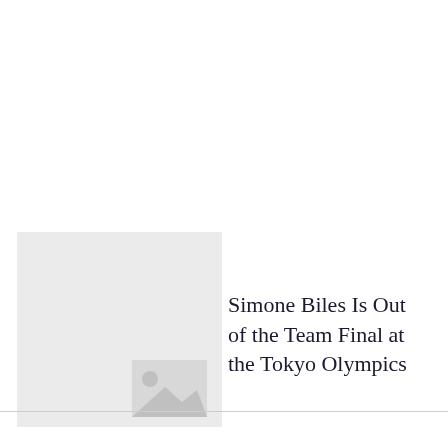[Figure (photo): Placeholder image block with a light gray background and a smaller gray image icon in the lower right corner, typical of an image that has not loaded.]
Simone Biles Is Out of the Team Final at the Tokyo Olympics